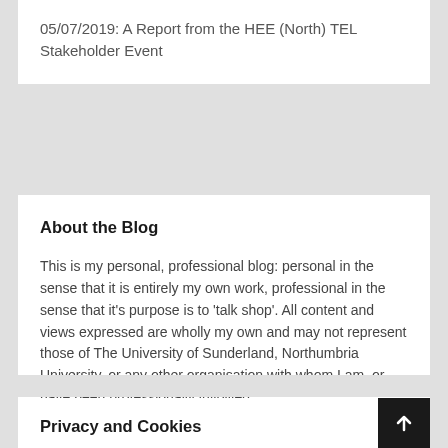05/07/2019: A Report from the HEE (North) TEL Stakeholder Event
About the Blog
This is my personal, professional blog: personal in the sense that it is entirely my own work, professional in the sense that it's purpose is to 'talk shop'. All content and views expressed are wholly my own and may not represent those of The University of Sunderland, Northumbria University, or any other organisation with whom I am, or have been professionally involved.
Privacy and Cookies